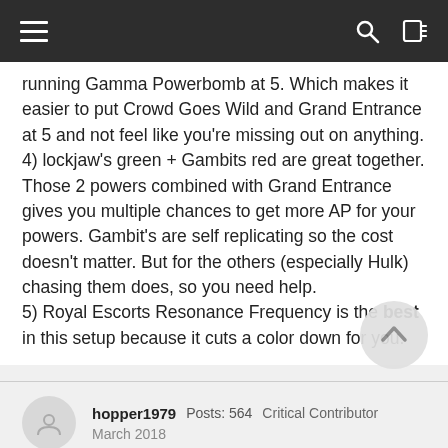[navigation bar with hamburger menu, search, and login icons]
running Gamma Powerbomb at 5. Which makes it easier to put Crowd Goes Wild and Grand Entrance at 5 and not feel like you're missing out on anything.
4) lockjaw's green + Gambits red are great together. Those 2 powers combined with Grand Entrance gives you multiple chances to get more AP for your powers. Gambit's are self replicating so the cost doesn't matter. But for the others (especially Hulk) chasing them does, so you need help.
5) Royal Escorts Resonance Frequency is the best in this setup because it cuts a color down for you.
hopper1979  Posts: 564  Critical Contributor
March 2018